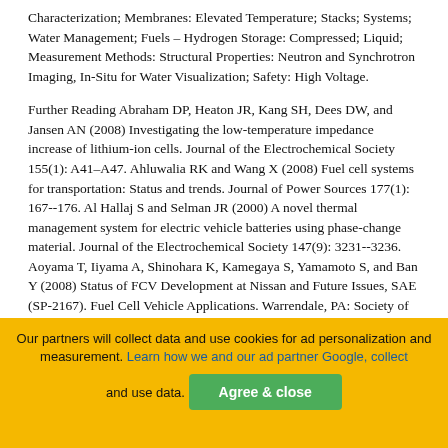Characterization; Membranes: Elevated Temperature; Stacks; Systems; Water Management; Fuels – Hydrogen Storage: Compressed; Liquid; Measurement Methods: Structural Properties: Neutron and Synchrotron Imaging, In-Situ for Water Visualization; Safety: High Voltage.
Further Reading Abraham DP, Heaton JR, Kang SH, Dees DW, and Jansen AN (2008) Investigating the low-temperature impedance increase of lithium-ion cells. Journal of the Electrochemical Society 155(1): A41–A47. Ahluwalia RK and Wang X (2008) Fuel cell systems for transportation: Status and trends. Journal of Power Sources 177(1): 167--176. Al Hallaj S and Selman JR (2000) A novel thermal management system for electric vehicle batteries using phase-change material. Journal of the Electrochemical Society 147(9): 3231--3236. Aoyama T, Iiyama A, Shinohara K, Kamegaya S, Yamamoto S, and Ban Y (2008) Status of FCV Development at Nissan and Future Issues, SAE (SP-2167). Fuel Cell Vehicle Applications. Warrendale, PA: Society of Automotive Engineers International. Ariyoshi K, Yamatoa R. Makimura Y. Amazutsumi T. Maeda Y. and Ohzukua
Our partners will collect data and use cookies for ad personalization and measurement. Learn how we and our ad partner Google, collect and use data.
Agree & close